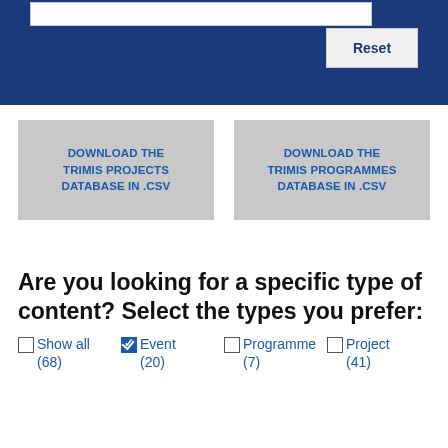[Figure (screenshot): Blue banner with white search bar at top and Reset button]
DOWNLOAD THE TRIMIS PROJECTS DATABASE IN .CSV
DOWNLOAD THE TRIMIS PROGRAMMES DATABASE IN .CSV
Are you looking for a specific type of content? Select the types you prefer:
Show all (68)
Event (20)
Programme (7)
Project (41)